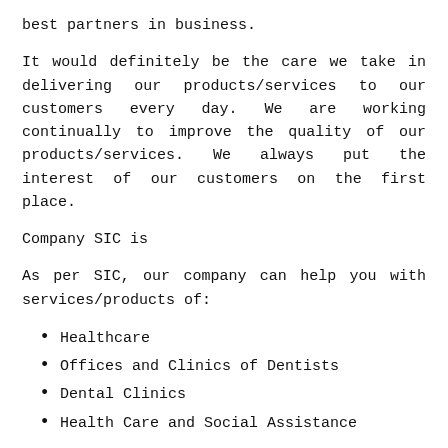best partners in business.
It would definitely be the care we take in delivering our products/services to our customers every day. We are working continually to improve the quality of our products/services. We always put the interest of our customers on the first place.
Company SIC is
As per SIC, our company can help you with services/products of:
Healthcare
Offices and Clinics of Dentists
Dental Clinics
Health Care and Social Assistance
Over the years we have recruited the best workers in the field of Offices and Clinics of Dentists. They are all certified Dental Clinics, with over 23 years of